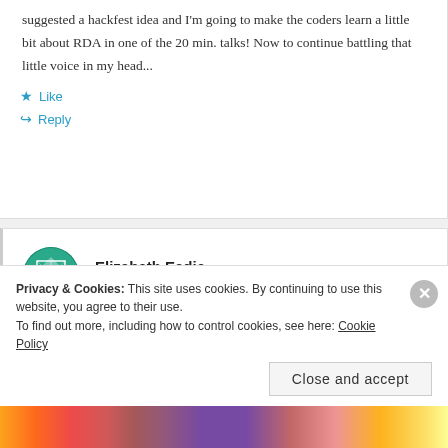suggested a hackfest idea and I'm going to make the coders learn a little bit about RDA in one of the 20 min. talks! Now to continue battling that little voice in my head...
Like
Reply
Elizabeth Eadie
April 7, 2012 at 4:20 pm
Privacy & Cookies: This site uses cookies. By continuing to use this website, you agree to their use. To find out more, including how to control cookies, see here: Cookie Policy
Close and accept